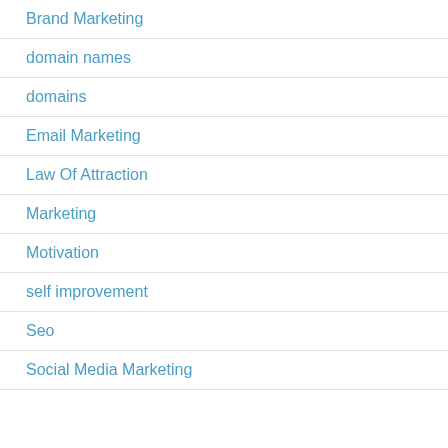Brand Marketing
domain names
domains
Email Marketing
Law Of Attraction
Marketing
Motivation
self improvement
Seo
Social Media Marketing